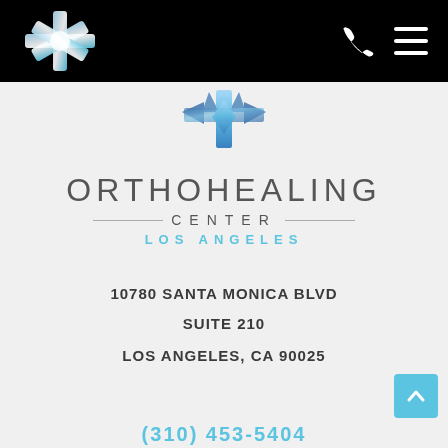[Figure (logo): Star of life / medical cross logo in white and light blue on black navigation bar]
[Figure (logo): Larger star of life / medical cross logo in blue tones on light gray background]
ORTHOHEALING
CENTER
LOS ANGELES
10780 SANTA MONICA BLVD
SUITE 210
LOS ANGELES, CA 90025
(310) 453-5404